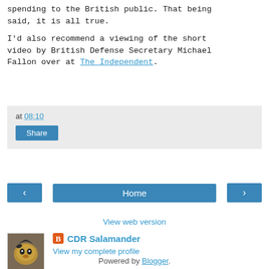spending to the British public. That being said, it is all true.
I'd also recommend a viewing of the short video by British Defense Secretary Michael Fallon over at The Independent.
at 08:10
Share
Home
View web version
CDR Salamander
View my complete profile
Powered by Blogger.